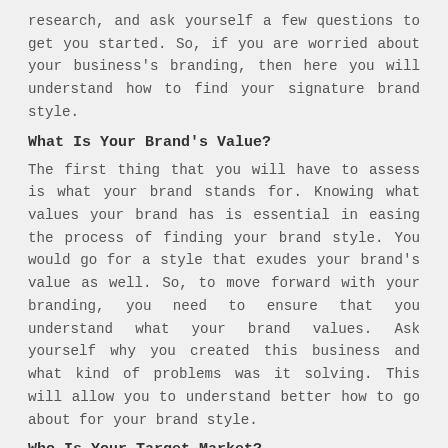research, and ask yourself a few questions to get you started. So, if you are worried about your business's branding, then here you will understand how to find your signature brand style.
What Is Your Brand's Value?
The first thing that you will have to assess is what your brand stands for. Knowing what values your brand has is essential in easing the process of finding your brand style. You would go for a style that exudes your brand's value as well. So, to move forward with your branding, you need to ensure that you understand what your brand values. Ask yourself why you created this business and what kind of problems was it solving. This will allow you to understand better how to go about for your brand style.
Who Is Your Target Market?